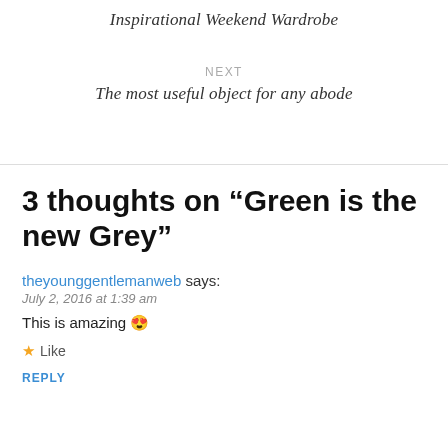Inspirational Weekend Wardrobe
NEXT
The most useful object for any abode
3 thoughts on “Green is the new Grey”
theyounggentlemanweb says:
July 2, 2016 at 1:39 am
This is amazing 😍
★ Like
REPLY